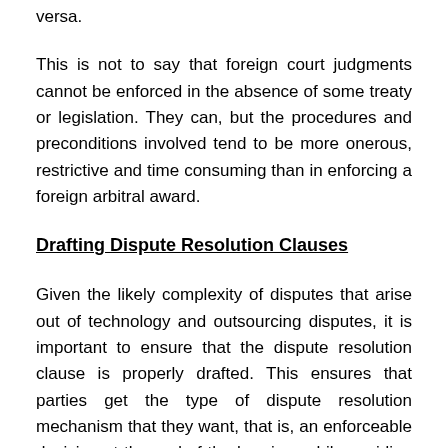versa.
This is not to say that foreign court judgments cannot be enforced in the absence of some treaty or legislation. They can, but the procedures and preconditions involved tend to be more onerous, restrictive and time consuming than in enforcing a foreign arbitral award.
Drafting Dispute Resolution Clauses
Given the likely complexity of disputes that arise out of technology and outsourcing disputes, it is important to ensure that the dispute resolution clause is properly drafted. This ensures that parties get the type of dispute resolution mechanism that they want, that is, an enforceable decision at the end of the hearing, while avoiding costly jurisdictional fights and delays prior to the substantive hearing.